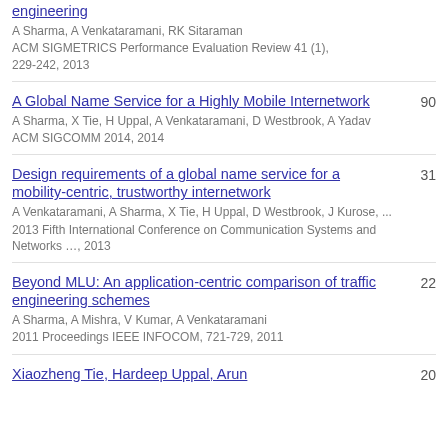engineering
A Sharma, A Venkataramani, RK Sitaraman
ACM SIGMETRICS Performance Evaluation Review 41 (1), 229-242, 2013
A Global Name Service for a Highly Mobile Internetwork
A Sharma, X Tie, H Uppal, A Venkataramani, D Westbrook, A Yadav
ACM SIGCOMM 2014, 2014
90
Design requirements of a global name service for a mobility-centric, trustworthy internetwork
A Venkataramani, A Sharma, X Tie, H Uppal, D Westbrook, J Kurose, ...
2013 Fifth International Conference on Communication Systems and Networks ..., 2013
31
Beyond MLU: An application-centric comparison of traffic engineering schemes
A Sharma, A Mishra, V Kumar, A Venkataramani
2011 Proceedings IEEE INFOCOM, 721-729, 2011
22
Xiaozheng Tie, Hardeep Uppal, Arun
20